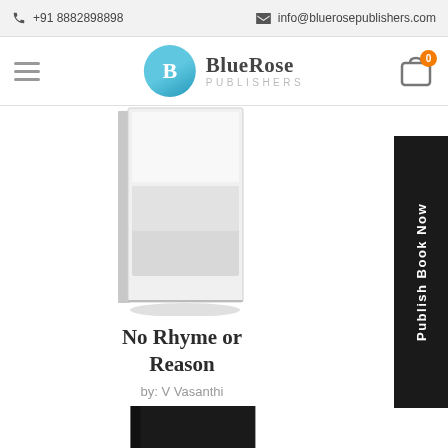+91 8882898898  |  info@bluerosepublishers.com
[Figure (logo): BlueRose Publishers logo with teal circle containing letter B]
No Rhyme or Reason
by: V Vasanthi
₹200.00